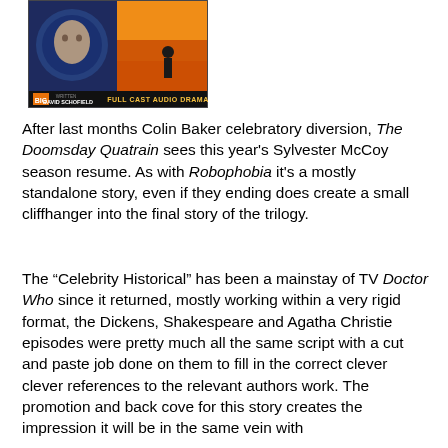[Figure (photo): Book/audio drama cover image showing a Doctor Who Full Cast Audio Drama with a face on the left side and an orange/yellow dramatic scene on the right. Bottom bar shows 'BIG' logo, 'DAVID SCHOFIELD' and 'FULL CAST AUDIO DRAMA' text.]
After last months Colin Baker celebratory diversion, The Doomsday Quatrain sees this year's Sylvester McCoy season resume. As with Robophobia it's a mostly standalone story, even if they ending does create a small cliffhanger into the final story of the trilogy.
The “Celebrity Historical” has been a mainstay of TV Doctor Who since it returned, mostly working within a very rigid format, the Dickens, Shakespeare and Agatha Christie episodes were pretty much all the same script with a cut and paste job done on them to fill in the correct clever clever references to the relevant authors work. The promotion and back cove for this story creates the impression it will be in the same vein with